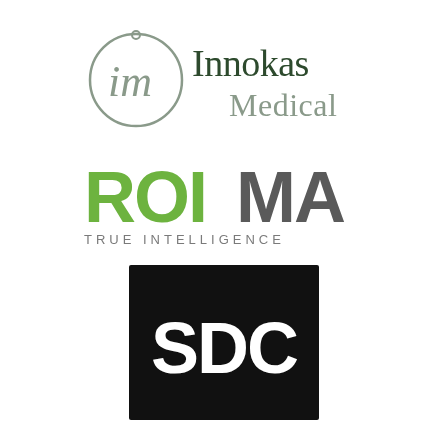[Figure (logo): Innokas Medical logo: circular 'im' monogram in grey on left, 'Innokas Medical' text in dark green/grey serif font on right]
[Figure (logo): Roima True Intelligence logo: 'ROI' in bright green bold sans-serif, 'MA' in dark grey bold sans-serif, 'TRUE INTELLIGENCE' in small spaced grey sans-serif below]
[Figure (logo): SDC logo: black rectangle with 'SDC' in large bold white sans-serif letters centered]